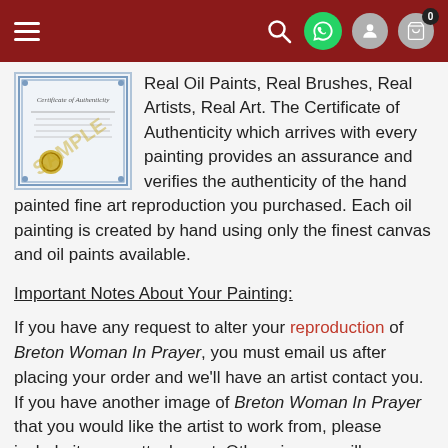Navigation bar with hamburger menu, search, WhatsApp, user, and cart (0) icons
[Figure (illustration): Certificate of Authenticity sample document with decorative border, SAMPLE watermark, and gold seal]
Real Oil Paints, Real Brushes, Real Artists, Real Art. The Certificate of Authenticity which arrives with every painting provides an assurance and verifies the authenticity of the hand painted fine art reproduction you purchased. Each oil painting is created by hand using only the finest canvas and oil paints available.
Important Notes About Your Painting:
If you have any request to alter your reproduction of Breton Woman In Prayer, you must email us after placing your order and we'll have an artist contact you. If you have another image of Breton Woman In Prayer that you would like the artist to work from, please include it as an attachment. Otherwise, we will reproduce the above image for you exactly as it is.